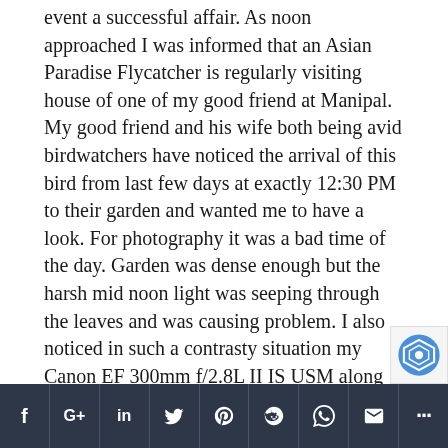event a successful affair. As noon approached I was informed that an Asian Paradise Flycatcher is regularly visiting house of one of my good friend at Manipal. My good friend and his wife both being avid birdwatchers have noticed the arrival of this bird from last few days at exactly 12:30 PM to their garden and wanted me to have a look. For photography it was a bad time of the day. Garden was dense enough but the harsh mid noon light was seeping through the leaves and was causing problem. I also noticed in such a contrasty situation my Canon EF 300mm f/2.8L II IS USM along with Canon EF 2X III Extender on Canon EOS 5D Mark III was supposed to be having trouble in focusing. This was the problem which was supposed to be corrected in the firmware for the Canon EF 300mm f/2.8L II IS USM lens. I had not yet updated the firmware and was...